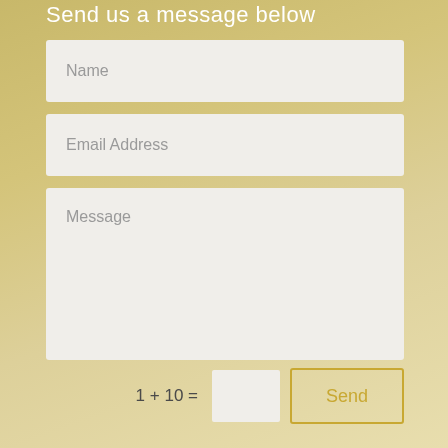Send us a message below
Name
Email Address
Message
1 + 10 =
Send